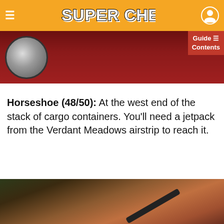SUPER CHEATS
[Figure (screenshot): Top portion of a game screenshot showing a dark red scene with what appears to be a circular emblem or wheel on the left side. A 'Guide Contents' overlay button is visible in the top-right corner.]
Horseshoe (48/50): At the west end of the stack of cargo containers. You'll need a jetpack from the Verdant Meadows airstrip to reach it.
[Figure (screenshot): Bottom portion of a game screenshot showing an aerial/overhead view with brownish-orange cargo containers or rooftops, some green foliage on the left, and a dark diagonal bar/stripe across the lower portion.]